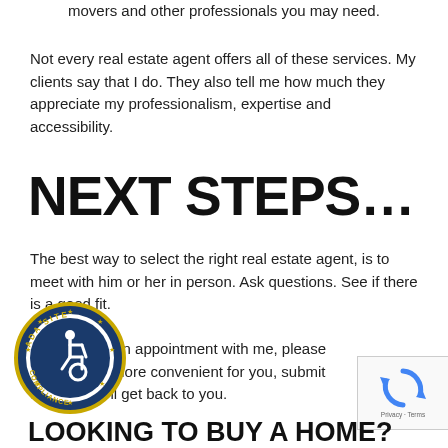movers and other professionals you may need.
Not every real estate agent offers all of these services. My clients say that I do. They also tell me how much they appreciate my professionalism, expertise and accessibility.
NEXT STEPS...
The best way to select the right real estate agent, is to meet with him or her in person. Ask questions. See if there is a good fit.
To schedule an appointment with me, please call . If it's more convenient for you, submit the w and I'll get back to you.
[Figure (logo): ADA Site Compliance badge — circular gold and navy seal with wheelchair accessibility symbol in center]
[Figure (logo): reCAPTCHA widget with blue recycling arrows icon and 'Privacy - Terms' text]
LOOKING TO BUY A HOME?